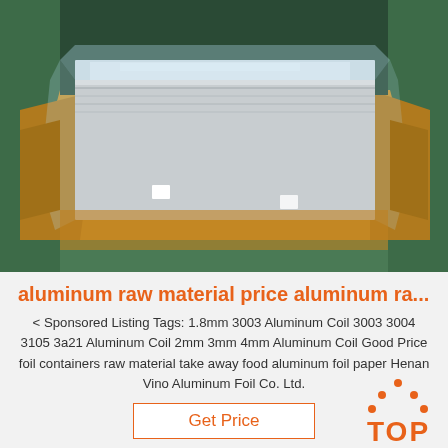[Figure (photo): Stacked aluminum sheets wrapped in plastic and brown paper, photographed in an industrial/warehouse setting with green background]
aluminum raw material price aluminum ra...
< Sponsored Listing Tags: 1.8mm 3003 Aluminum Coil 3003 3004 3105 3a21 Aluminum Coil 2mm 3mm 4mm Aluminum Coil Good Price foil containers raw material take away food aluminum foil paper Henan Vino Aluminum Foil Co. Ltd.
Get Price
[Figure (logo): Orange TOP badge/logo with dots above the letters]
[Figure (photo): Industrial factory floor with machinery and a forklift, partial view at bottom of page]